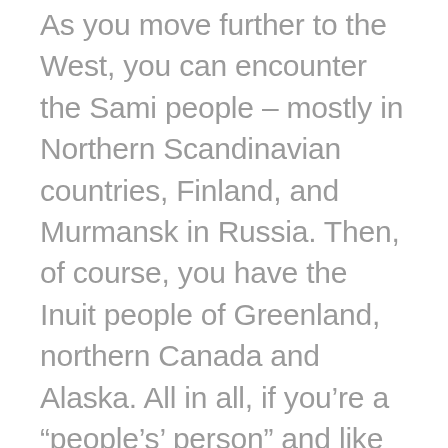As you move further to the West, you can encounter the Sami people – mostly in Northern Scandinavian countries, Finland, and Murmansk in Russia. Then, of course, you have the Inuit people of Greenland, northern Canada and Alaska. All in all, if you're a “people’s’ person” and like to experience new cultures, any Arctic cruise you take can hold new surprises.